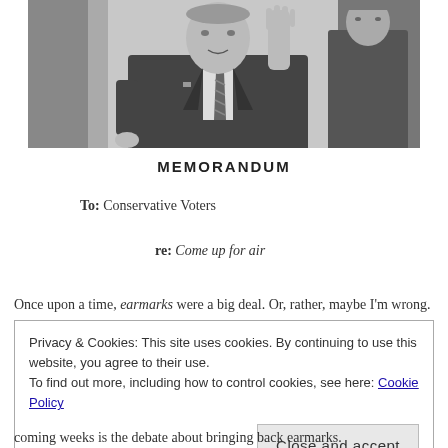[Figure (photo): Black and white photograph of an older man in a suit gesturing with his right hand raised, wearing a tie, with another man visible in the background]
MEMORANDUM
To: Conservative Voters
re: Come up for air
Once upon a time, earmarks were a big deal. Or, rather, maybe I'm wrong.
Privacy & Cookies: This site uses cookies. By continuing to use this website, you agree to their use.
To find out more, including how to control cookies, see here: Cookie Policy
[Close and accept]
coming weeks is the debate about bringing back earmarks.